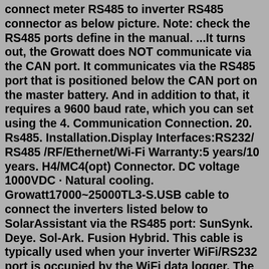connect meter RS485 to inverter RS485 connector as below picture. Note: check the RS485 ports define in the manual. ...It turns out, the Growatt does NOT communicate via the CAN port. It communicates via the RS485 port that is positioned below the CAN port on the master battery. And in addition to that, it requires a 9600 baud rate, which you can set using the 4. Communication Connection. 20. Rs485. Installation.Display Interfaces:RS232/ RS485 /RF/Ethernet/Wi-Fi Warranty:5 years/10 years. H4/MC4(opt) Connector. DC voltage 1000VDC · Natural cooling. Growatt17000~25000TL3-S.USB cable to connect the inverters listed below to SolarAssistant via the RS485 port: SunSynk. Deye. Sol-Ark. Fusion Hybrid. This cable is typically used when your inverter WiFi/RS232 port is occupied by the WiFi data logger. The RS485 port is located inside the inverter. Check that your RS485 port is available before purchasing this cable.This is a listing for RS485 / CAN Hub with 8 ports by Growatt. This product is used for connecting 1 battery bank and up